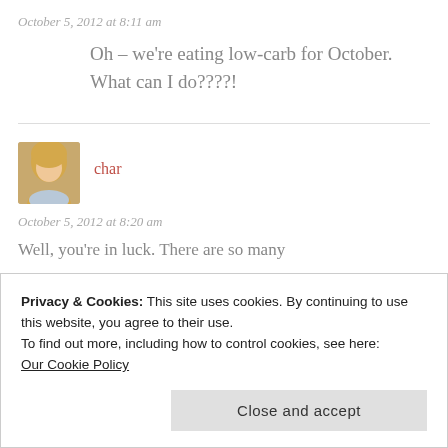October 5, 2012 at 8:11 am
Oh – we're eating low-carb for October. What can I do????!
[Figure (photo): Avatar photo of user char, a woman with blonde hair]
char
October 5, 2012 at 8:20 am
Well, you're in luck. There are so many
Privacy & Cookies: This site uses cookies. By continuing to use this website, you agree to their use.
To find out more, including how to control cookies, see here:
Our Cookie Policy
Close and accept